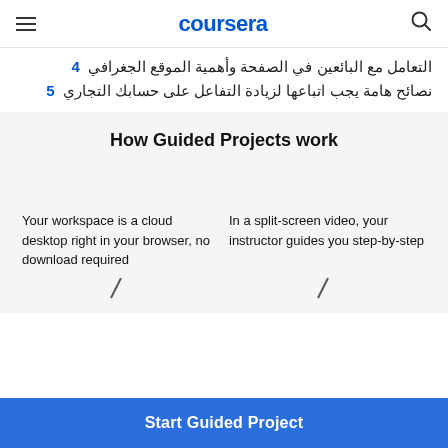coursera
4  التعامل مع البائعين في الصفحة وأهمية الموقع الجغرافي
5  نصائح هامة يجب اتباعها لزيادة التفاعل على حسابك التجاري
How Guided Projects work
Your workspace is a cloud desktop right in your browser, no download required
In a split-screen video, your instructor guides you step-by-step
Start Guided Project